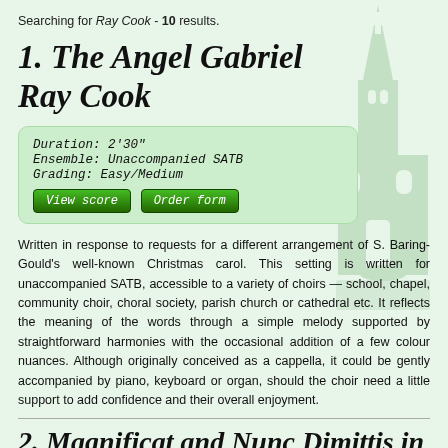Searching for Ray Cook - 10 results.
1. The Angel Gabriel
Ray Cook
Duration: 2'30"
Ensemble: Unaccompanied SATB
Grading: Easy/Medium
View score | Order form
Written in response to requests for a different arrangement of S. Baring-Gould's well-known Christmas carol. This setting is written for unaccompanied SATB, accessible to a variety of choirs — school, chapel, community choir, choral society, parish church or cathedral etc. It reflects the meaning of the words through a simple melody supported by straightforward harmonies with the occasional addition of a few colour nuances. Although originally conceived as a cappella, it could be gently accompanied by piano, keyboard or organ, should the choir need a little support to add confidence and their overall enjoyment.
2. Magnificat and Nunc Dimittis in D
Ray Cook